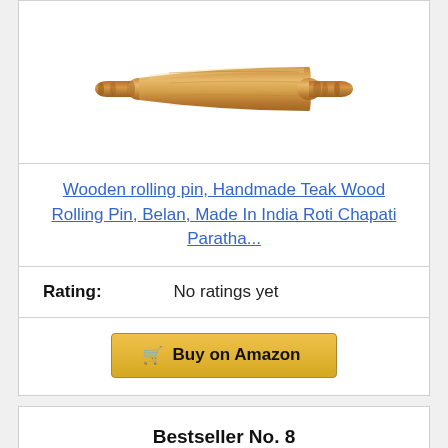[Figure (photo): A wooden rolling pin (belan) shown diagonally on a white background. The rolling pin is made of teak wood with a tapered cylindrical shape and rings at the ends.]
Wooden rolling pin, Handmade Teak Wood Rolling Pin, Belan, Made In India Roti Chapati Paratha...
Rating: No ratings yet
Buy on Amazon
Bestseller No. 8